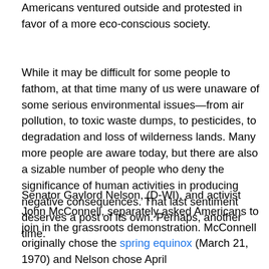Americans ventured outside and protested in favor of a more eco-conscious society.
While it may be difficult for some people to fathom, at that time many of us were unaware of some serious environmental issues—from air pollution, to toxic waste dumps, to pesticides, to degradation and loss of wilderness lands. Many more people are aware today, but there are also a sizable number of people who deny the significance of human activities in producing negative consequences. That last sentiment deserves a post of its own. Perhaps, another time.
Senator Gaylord Nelson, (D-WI), and activist John McConnell, separately asked Americans to join in the grassroots demonstration. McConnell originally chose the spring equinox (March 21, 1970) and Nelson chose April